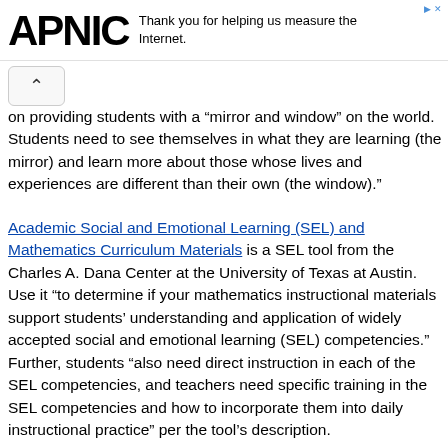APNIC | Thank you for helping us measure the Internet.
on providing students with a "mirror and window" on the world. Students need to see themselves in what they are learning (the mirror) and learn more about those whose lives and experiences are different than their own (the window)."
Academic Social and Emotional Learning (SEL) and Mathematics Curriculum Materials is a SEL tool from the Charles A. Dana Center at the University of Texas at Austin. Use it "to determine if your mathematics instructional materials support students' understanding and application of widely accepted social and emotional learning (SEL) competencies." Further, students "also need direct instruction in each of the SEL competencies, and teachers need specific training in the SEL competencies and how to incorporate them into daily instructional practice" per the tool's description.
Long-range and Short-range Curriculum Maps